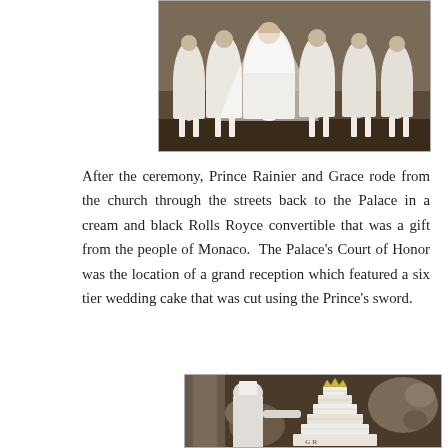[Figure (photo): Black and white photograph showing bridesmaids in white dresses at a formal ceremony, viewed from behind/side showing flowing gowns.]
After the ceremony, Prince Rainier and Grace rode from the church through the streets back to the Palace in a cream and black Rolls Royce convertible that was a gift from the people of Monaco. The Palace's Court of Honor was the location of a grand reception which featured a six tier wedding cake that was cut using the Prince's sword.
[Figure (photo): Black and white photograph of a large ornate six-tier wedding cake topped with a crown, with a person in white chef's attire standing beside it and elaborate flower arrangements in the background.]